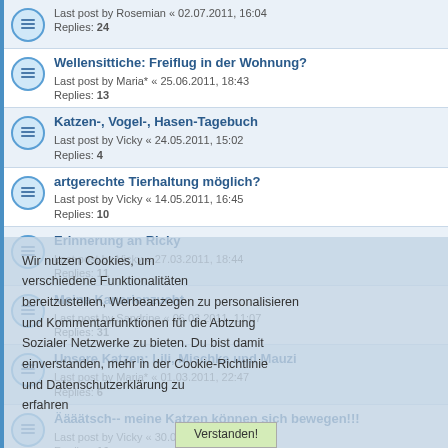Last post by Rosemian « 02.07.2011, 16:04
Replies: 24
Wellensittiche: Freiflug in der Wohnung?
Last post by Maria* « 25.06.2011, 18:43
Replies: 13
Katzen-, Vogel-, Hasen-Tagebuch
Last post by Vicky « 24.05.2011, 15:02
Replies: 4
artgerechte Tierhaltung möglich?
Last post by Vicky « 14.05.2011, 16:45
Replies: 10
Erinnerung an Ricky
Last post by Vicky « 27.03.2011, 18:44
Replies: 11
Meine Kanarienzucht
Last post by Sandrine « 06.03.2011, 11:07
Replies: 31
Unsere Katzen: Lili, Mischka und Mauzi
Last post by Maria* « 01.03.2011, 22:47
Replies: 6
Äääätsch-- meine Katzen können sich bewegen!!!
Last post by Vicky « 30.01.2011, 18:53
Replies: 16
Tierische Hilfe
Last post by fabel « 10.01.2011, 09:15
Replies: 5
Katzen, auf leisen Pfoten
Last post by Vicky « 08.01.2011, 18:38
Replies: 2
Kater rammelt unsere Kleidung